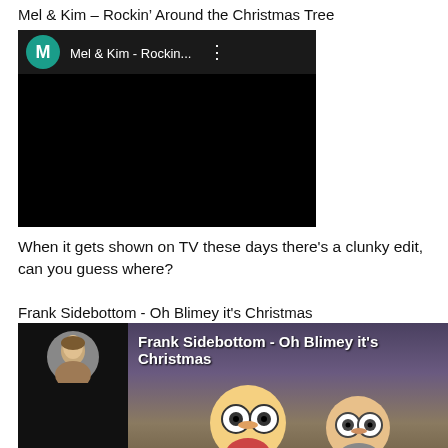Mel & Kim – Rockin' Around the Christmas Tree
[Figure (screenshot): YouTube-style video player thumbnail for 'Mel & Kim - Rockin...' with teal M avatar icon and black video area]
When it gets shown on TV these days there's a clunky edit, can you guess where?
Frank Sidebottom - Oh Blimey it's Christmas
[Figure (screenshot): YouTube-style video thumbnail for 'Frank Sidebottom - Oh Blimey it's Christmas' showing a woman's avatar and cartoon puppet characters]